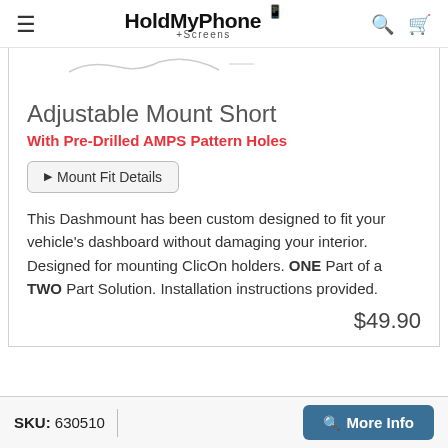HoldMyPhone +Screens
[Figure (photo): Partial product image showing top edge of a phone mount, cropped at top]
Adjustable Mount Short
With Pre-Drilled AMPS Pattern Holes
▶ Mount Fit Details
This Dashmount has been custom designed to fit your vehicle's dashboard without damaging your interior. Designed for mounting ClicOn holders. ONE Part of a TWO Part Solution. Installation instructions provided.
$49.90
SKU: 630510  |  More Info